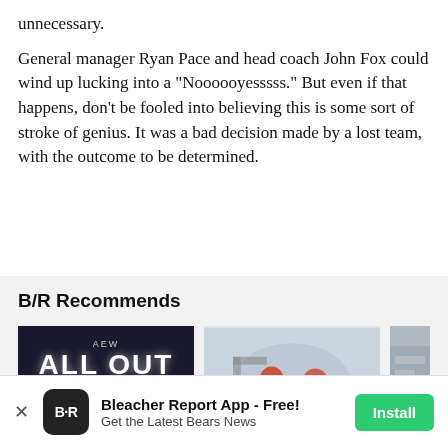unnecessary.
General manager Ryan Pace and head coach John Fox could wind up lucking into a "Noooooyesssss." But even if that happens, don't be fooled into believing this is some sort of stroke of genius. It was a bad decision made by a lost team, with the outcome to be determined.
B/R Recommends
[Figure (photo): AEW All Out promotional image with Chicago branding, SUN SEPT 4 8PM ET]
[Figure (photo): Basketball game scene with players and referee]
[Figure (photo): Partially visible third thumbnail]
Bleacher Report App - Free! Get the Latest Bears News | Install